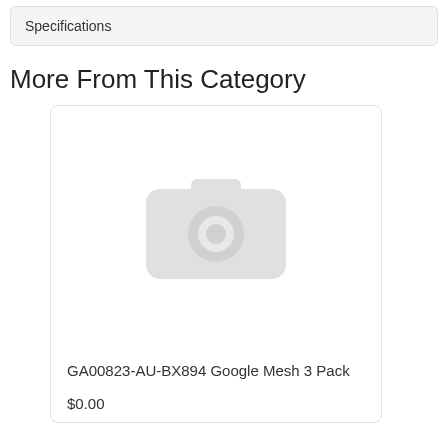Specifications
More From This Category
[Figure (photo): Product card with placeholder camera icon image for GA00823-AU-BX894 Google Mesh 3 Pack priced at $0.00]
GA00823-AU-BX894 Google Mesh 3 Pack
$0.00